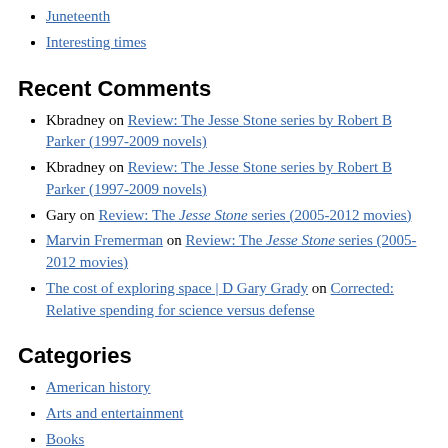Juneteenth
Interesting times
Recent Comments
Kbradney on Review: The Jesse Stone series by Robert B Parker (1997-2009 novels)
Kbradney on Review: The Jesse Stone series by Robert B Parker (1997-2009 novels)
Gary on Review: The Jesse Stone series (2005-2012 movies)
Marvin Fremerman on Review: The Jesse Stone series (2005-2012 movies)
The cost of exploring space | D Gary Grady on Corrected: Relative spending for science versus defense
Categories
American history
Arts and entertainment
Books
Business and commerce
Climate change
Current events